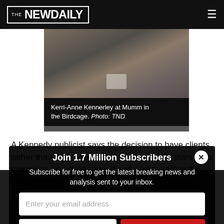THE NEWDAILY
[Figure (photo): Photo of Kerri-Anne Kennerley at Mumm in the Birdcage, showing legs and white heels against a dark decorative background]
Kerri-Anne Kennerley at Mumm in the Birdcage. Photo: TND
A Kennedy publicist says the decision to have clients rather than wall to wall WAGS or reality TV stars in its marquees was deliberate: "It's all about crafting the atmosphere for them to real
Join 1.7 Million Subscribers
Subscribe for free to get the latest breaking news and analysis sent to your inbox.
Enter your email address
Your postcode
Subscribe
bell boys and One man is wearing an Austra